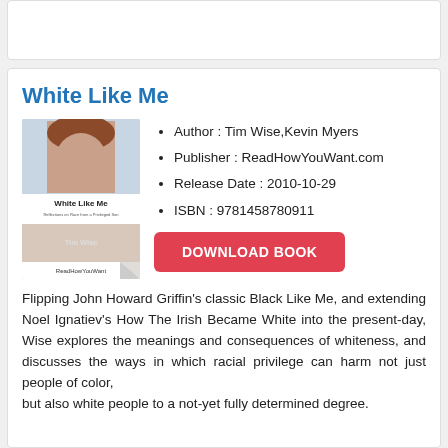White Like Me
Author : Tim Wise,Kevin Myers
Publisher : ReadHowYouWant.com
Release Date : 2010-10-29
ISBN : 9781458780911
DOWNLOAD BOOK
Flipping John Howard Griffin's classic Black Like Me, and extending Noel Ignatiev's How The Irish Became White into the present-day, Wise explores the meanings and consequences of whiteness, and discusses the ways in which racial privilege can harm not just people of color, but also white people to a not-yet fully determined degree.